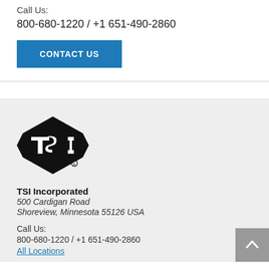Call Us:
800-680-1220 / +1 651-490-2860
CONTACT US
[Figure (logo): TSI Incorporated logo — black diamond-like shape with 'TSI' text inside and registered trademark symbol]
TSI Incorporated
500 Cardigan Road
Shoreview, Minnesota 55126 USA
Call Us:
800-680-1220 / +1 651-490-2860
All Locations